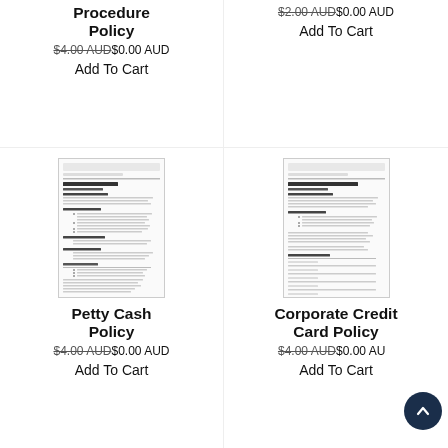Procedure Policy
$4.00 AUD $0.00 AUD
Add To Cart
Corporate Credit Card Policy
$2.00 AUD $0.00 AUD
Add To Cart
[Figure (screenshot): Thumbnail of a Petty Cash Policy document]
Petty Cash Policy
$4.00 AUD $0.00 AUD
Add To Cart
[Figure (screenshot): Thumbnail of a Corporate Credit Card Policy document]
Corporate Credit Card Policy
$4.00 AUD $0.00 AUD
Add To Cart